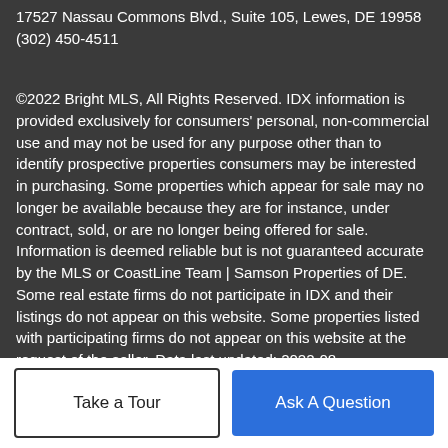17527 Nassau Commons Blvd., Suite 105, Lewes, DE 19958
(302) 450-4511
©2022 Bright MLS, All Rights Reserved. IDX information is provided exclusively for consumers' personal, non-commercial use and may not be used for any purpose other than to identify prospective properties consumers may be interested in purchasing. Some properties which appear for sale may no longer be available because they are for instance, under contract, sold, or are no longer being offered for sale. Information is deemed reliable but is not guaranteed accurate by the MLS or CoastLine Team | Samson Properties of DE. Some real estate firms do not participate in IDX and their listings do not appear on this website. Some properties listed with participating firms do not appear on this website at the request of the seller. Data last updated: 2022-08-30T10:05:21.66.
Take a Tour
Ask A Question